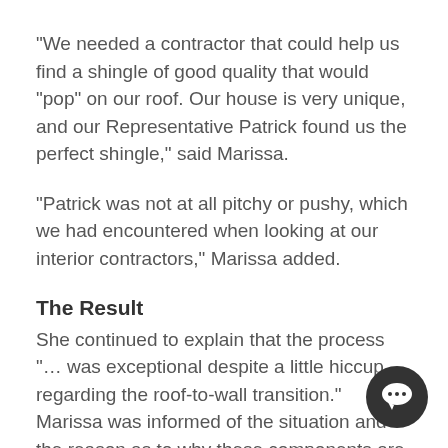“We needed a contractor that could help us find a shingle of good quality that would “pop” on our roof. Our house is very unique, and our Representative Patrick found us the perfect shingle,” said Marissa.
“Patrick was not at all pitchy or pushy, which we had encountered when looking at our interior contractors,” Marissa added.
The Result
She continued to explain that the process “… was exceptional despite a little hiccup regarding the roof-to-wall transition.” Marissa was informed of the situation and the reason as to why these components are important. She added, “the Project Supervisor and Manager took the time to explain exactly what it is and why we need it.”
[Figure (illustration): Dark circular chat bubble icon in bottom right corner]